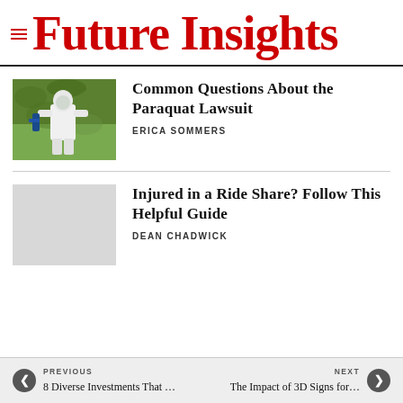Future Insights
Common Questions About the Paraquat Lawsuit
ERICA SOMMERS
Injured in a Ride Share? Follow This Helpful Guide
DEAN CHADWICK
PREVIOUS 8 Diverse Investments That … The Impact of 3D Signs for… NEXT